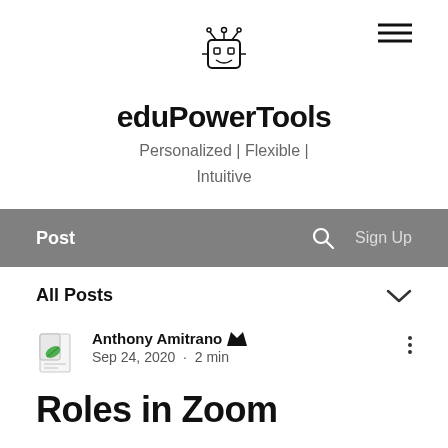[Figure (logo): eduPowerTools robot logo icon with small antennae and shield shape]
eduPowerTools
Personalized | Flexible | Intuitive
Post   🔍   Sign Up
All Posts
Anthony Amitrano  [admin]  Sep 24, 2020  ·  2 min
Roles in Zoom